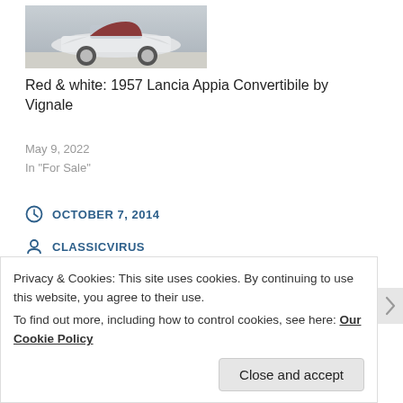[Figure (photo): Photo of a white 1957 Lancia Appia Convertibile by Vignale, a vintage convertible car parked on pavement]
Red & white: 1957 Lancia Appia Convertibile by Vignale
May 9, 2022
In "For Sale"
OCTOBER 7, 2014
CLASSICVIRUS
FOR SALE, ITALIAN
Privacy & Cookies: This site uses cookies. By continuing to use this website, you agree to their use.
To find out more, including how to control cookies, see here: Our Cookie Policy
Close and accept